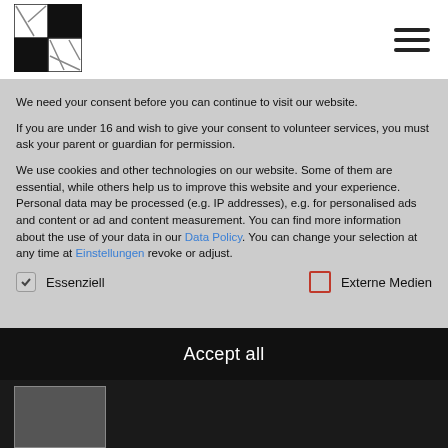[Figure (logo): Black and white geometric logo with triangular shapes]
We need your consent before you can continue to visit our website.
If you are under 16 and wish to give your consent to volunteer services, you must ask your parent or guardian for permission.
We use cookies and other technologies on our website. Some of them are essential, while others help us to improve this website and your experience. Personal data may be processed (e.g. IP addresses), e.g. for personalised ads and content or ad and content measurement. You can find more information about the use of your data in our Data Policy. You can change your selection at any time at Einstellungen revoke or adjust.
Essenziell
Externe Medien
Accept all